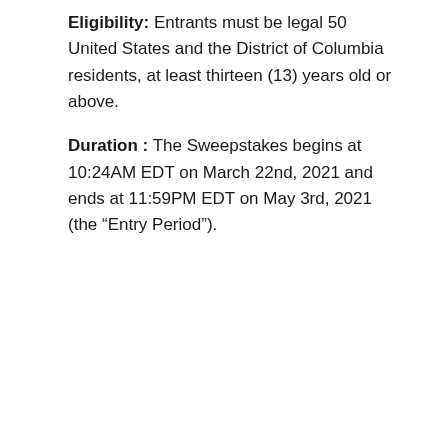Eligibility: Entrants must be legal 50 United States and the District of Columbia residents, at least thirteen (13) years old or above.
Duration: The Sweepstakes begins at 10:24AM EDT on March 22nd, 2021 and ends at 11:59PM EDT on May 3rd, 2021 (the “Entry Period”).